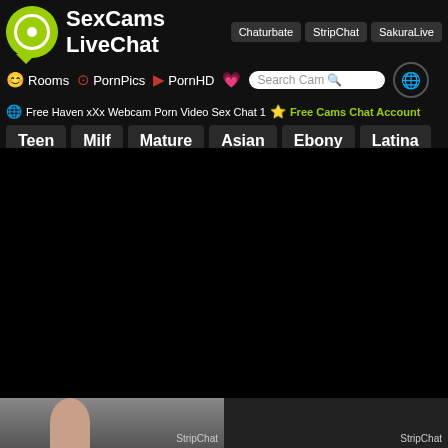SexCams LiveChat
Chaturbate  StripChat  SakuraLive
Rooms  PornPics  PornHD  Search Cam
Free Haven xXx Webcam Porn Video Sex Chat 1  Free Cams Chat Account
Teen
Milf
Mature
Asian
Ebony
Latina
Gay
Lesbian
Trans
[Figure (screenshot): Black area with two partial webcam thumbnails at the bottom, each labelled StripChat]